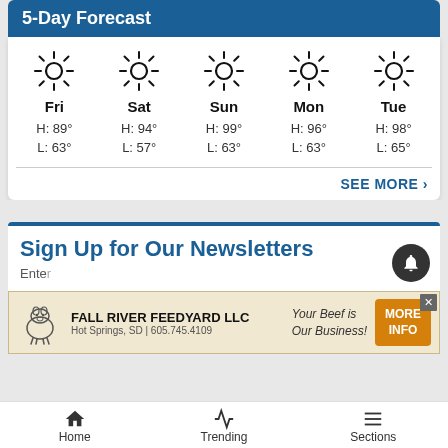5-Day Forecast
[Figure (infographic): 5-day weather forecast showing sun icons with high and low temperatures for Fri (H:89° L:63°), Sat (H:94° L:57°), Sun (H:99° L:63°), Mon (H:96° L:63°), Tue (H:98° L:65°)]
SEE MORE ›
Sign Up for Our Newsletters
Enter...
[Figure (infographic): Advertisement for Fall River Feedyard LLC - Your Beef is Our Business! Hot Springs, SD | 605.745.4109. MORE INFO button shown.]
Home   Trending   Sections